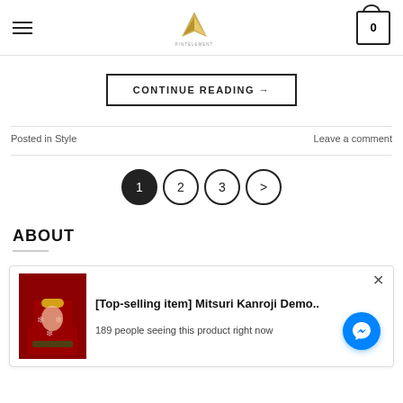Navigation header with hamburger menu, logo, and cart icon showing 0
CONTINUE READING →
Posted in Style    Leave a comment
[Figure (other): Pagination controls: filled circle 1 (active), circles 2, 3, and > arrow]
ABOUT
[Figure (other): Product notification card showing a red Christmas sweater (Mitsuri Kanroji Demon Slayer) with title '[Top-selling item] Mitsuri Kanroji Demo..' and '189 people seeing this product right now', with a close X button and a blue Messenger button]